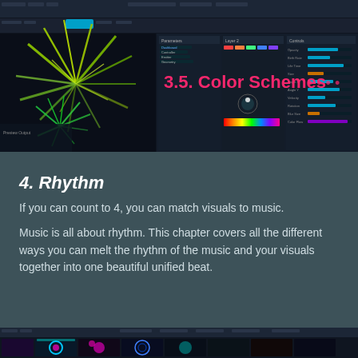[Figure (screenshot): Software interface screenshot showing a particle/visual effects editor with dark UI. Displays colorful plant-like particle effects (green/yellow spiky plants) on the left, and various control panels with color pickers, parameters, and settings on the right. Title overlay reads '3.5. Color Schemes' in pink/magenta text.]
4. Rhythm
If you can count to 4, you can match visuals to music.
Music is all about rhythm. This chapter covers all the different ways you can melt the rhythm of the music and your visuals together into one beautiful unified beat.
[Figure (screenshot): Software interface screenshot showing a timeline/sequencer view with dark UI, colorful thumbnails of visual effects including purple circles, blue fractals, and teal patterns arranged in a row.]